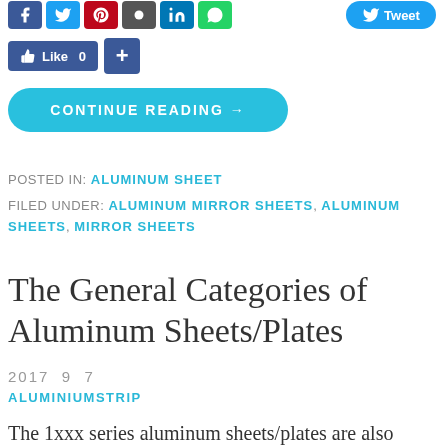[Figure (screenshot): Social media share buttons (Facebook, Twitter, Pinterest, Google, LinkedIn, WhatsApp) and a Tweet button]
[Figure (screenshot): Facebook Like button showing 0 likes and a blue plus share button]
[Figure (screenshot): Cyan CONTINUE READING → button]
POSTED IN: ALUMINUM SHEET
FILED UNDER: ALUMINUM MIRROR SHEETS, ALUMINUM SHEETS, MIRROR SHEETS
The General Categories of Aluminum Sheets/Plates
2017  9  7
ALUMINIUMSTRIP
The 1xxx series aluminum sheets/plates are also called the pure aluminum sheets/plates.